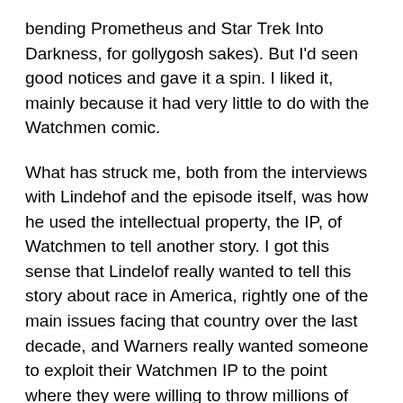bending Prometheus and Star Trek Into Darkness, for gollygosh sakes). But I'd seen good notices and gave it a spin. I liked it, mainly because it had very little to do with the Watchmen comic.
What has struck me, both from the interviews with Lindehof and the episode itself, was how he used the intellectual property, the IP, of Watchmen to tell another story. I got this sense that Lindelof really wanted to tell this story about race in America, rightly one of the main issues facing that country over the last decade, and Warners really wanted someone to exploit their Watchmen IP to the point where they were willing to throw millions of dollars at it, and Lindelof, who had reservations about going against Moore's wishes, saw an opportunity to turn this into a good thing, maybe.
Another example came out of Warners recently. That